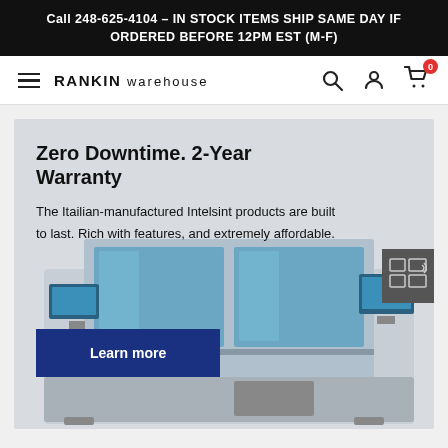Call 248-625-4104 – IN STOCK ITEMS SHIP SAME DAY IF ORDERED BEFORE 12PM EST (M-F)
[Figure (screenshot): Rankin Warehouse navigation bar with hamburger menu, RANKIN warehouse logo, search icon, account icon, and cart icon with badge showing 0]
Zero Downtime. 2-Year Warranty
The Itailian-manufactured Intelsint products are built to last. Rich with features, and extremely affordable.
Learn more